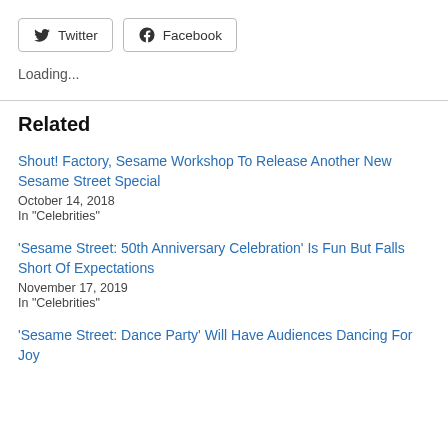[Figure (other): Twitter and Facebook social share buttons with icons and border outlines]
Loading...
Related
Shout! Factory, Sesame Workshop To Release Another New Sesame Street Special
October 14, 2018
In "Celebrities"
'Sesame Street: 50th Anniversary Celebration' Is Fun But Falls Short Of Expectations
November 17, 2019
In "Celebrities"
'Sesame Street: Dance Party' Will Have Audiences Dancing For Joy